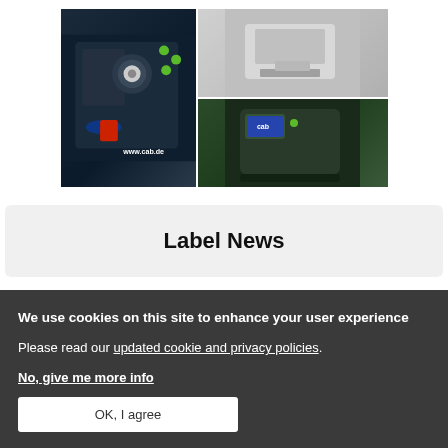[Figure (photo): Grid of product images showing cab label printers and printing equipment. Top-left: angled view of a printer/dispenser. Bottom-left: green and black cab label printer with touchscreen. Right (spanning full height): dark background showing internal mechanisms of a label printer with green accent parts. URL 'www.cab.de' visible in bottom right of right image.]
Label News
We use cookies on this site to enhance your user experience
Please read our updated cookie and privacy policies.
No, give me more info
OK, I agree